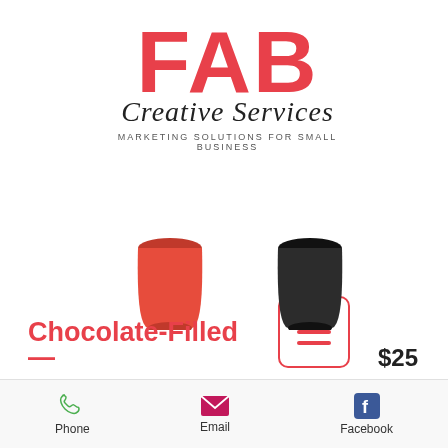[Figure (logo): FAB Creative Services logo — large red block letters FAB, cursive 'Creative Services' underneath, tagline 'MARKETING SOLUTIONS FOR SMALL BUSINESS']
[Figure (screenshot): Mobile UI hamburger menu button — square with rounded corners, red border, three red horizontal lines]
[Figure (photo): Two small cup/cap product photos — one red, one black — side by side]
[Figure (other): Scroll-to-top circular button with upward chevron]
Chocolate-Filled
$25
Phone  Email  Facebook